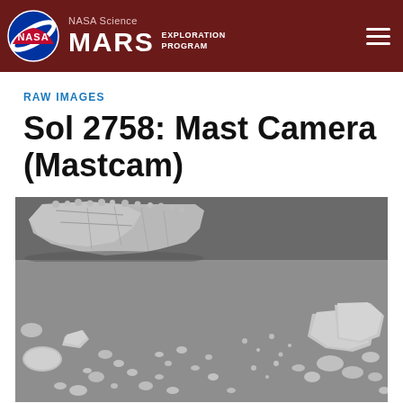NASA Science MARS EXPLORATION PROGRAM
RAW IMAGES
Sol 2758: Mast Camera (Mastcam)
[Figure (photo): Black and white raw image from Mars Curiosity rover Mastcam camera taken on Sol 2758, showing a Martian rocky surface with angular rock formation in the upper portion and scattered small rocks and pebbles across a flat dusty terrain.]